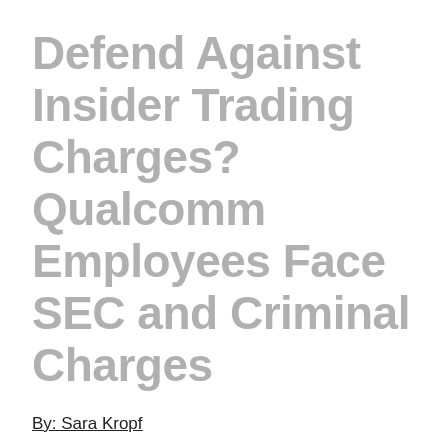Defend Against Insider Trading Charges? Qualcomm Employees Face SEC and Criminal Charges
By: Sara Kropf
In February 2014, Chinese antitrust regulators announced that they suspected wireless technology company Qualcomm Inc. of overcharging its customers and abusing its